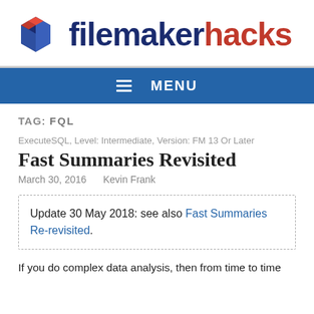[Figure (logo): FileMaker Hacks logo: blue cube icon on left, 'filemaker' in dark blue bold text and 'hacks' in red bold text]
≡  MENU
TAG: FQL
ExecuteSQL, Level: Intermediate, Version: FM 13 Or Later
Fast Summaries Revisited
March 30, 2016    Kevin Frank
Update 30 May 2018: see also Fast Summaries Re-revisited.
If you do complex data analysis, then from time to time